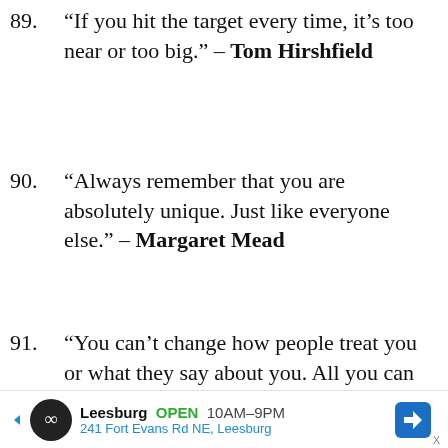89. “If you hit the target every time, it’s too near or too big.” – Tom Hirshfield
90. “Always remember that you are absolutely unique. Just like everyone else.” – Margaret Mead
91. “You can’t change how people treat you or what they say about you. All you can do is change how you react to it.” – Mahatma